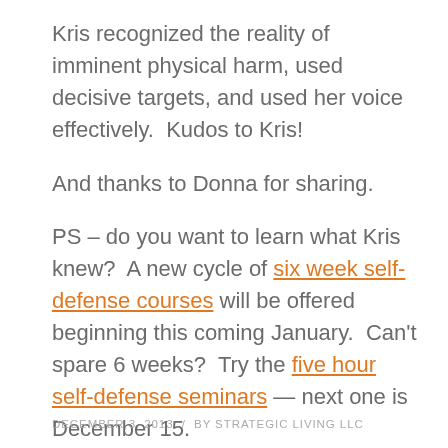Kris recognized the reality of imminent physical harm, used decisive targets, and used her voice effectively.  Kudos to Kris!
And thanks to Donna for sharing.
PS – do you want to learn what Kris knew?  A new cycle of six week self-defense courses will be offered beginning this coming January.  Can't spare 6 weeks?  Try the five hour self-defense seminars — next one is December 15.
DECEMBER 3, 2013  /  BY STRATEGIC LIVING LLC